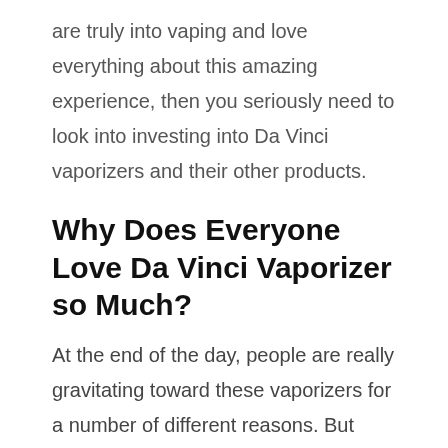are truly into vaping and love everything about this amazing experience, then you seriously need to look into investing into Da Vinci vaporizers and their other products.
Why Does Everyone Love Da Vinci Vaporizer so Much?
At the end of the day, people are really gravitating toward these vaporizers for a number of different reasons. But we're going to point out three specific reasons why this is such a phenomenal